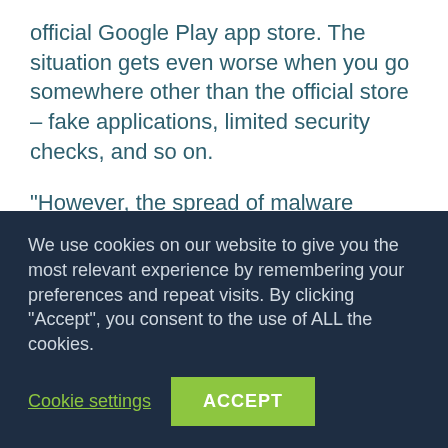official Google Play app store. The situation gets even worse when you go somewhere other than the official store – fake applications, limited security checks, and so on.
"However, the spread of malware targeting Android OS is not limited to unofficial stores – advertising, SMS-spam campaigns, and other techniques are also used.
"Among this array of threats we found a rather
We use cookies on our website to give you the most relevant experience by remembering your preferences and repeat visits. By clicking "Accept", you consent to the use of ALL the cookies.
Cookie settings
ACCEPT